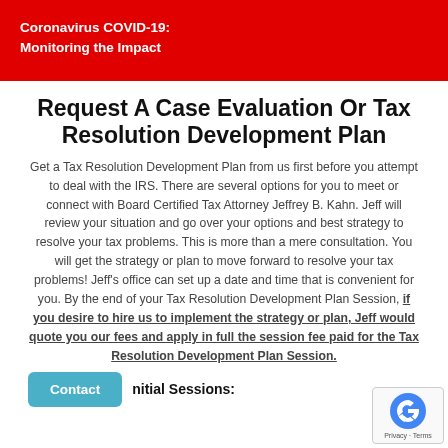Coronavirus COVID-19:
Monitoring the Impact
Request A Case Evaluation Or Tax Resolution Development Plan
Get a Tax Resolution Development Plan from us first before you attempt to deal with the IRS. There are several options for you to meet or connect with Board Certified Tax Attorney Jeffrey B. Kahn. Jeff will review your situation and go over your options and best strategy to resolve your tax problems. This is more than a mere consultation. You will get the strategy or plan to move forward to resolve your tax problems! Jeff's office can set up a date and time that is convenient for you. By the end of your Tax Resolution Development Plan Session, if you desire to hire us to implement the strategy or plan, Jeff would quote you our fees and apply in full the session fee paid for the Tax Resolution Development Plan Session.
Contact  nitial Sessions: